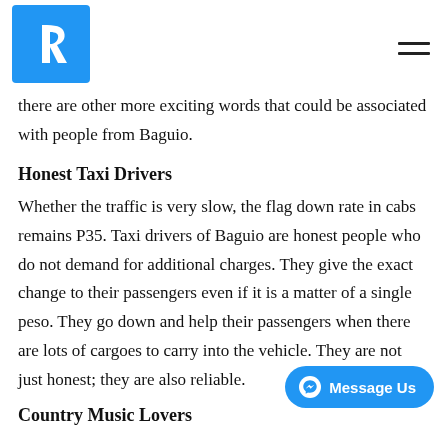R [logo] [hamburger menu]
there are other more exciting words that could be associated with people from Baguio.
Honest Taxi Drivers
Whether the traffic is very slow, the flag down rate in cabs remains P35. Taxi drivers of Baguio are honest people who do not demand for additional charges. They give the exact change to their passengers even if it is a matter of a single peso. They go down and help their passengers when there are lots of cargoes to carry into the vehicle. They are not just honest; they are also reliable.
Country Music Lovers